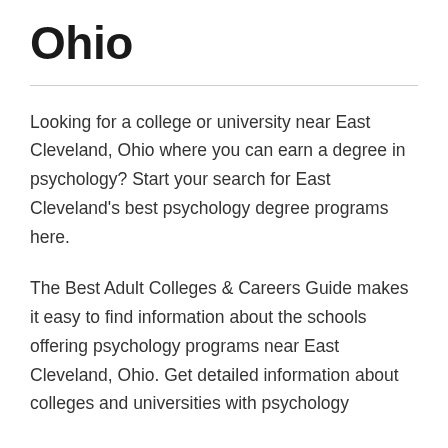Ohio
Looking for a college or university near East Cleveland, Ohio where you can earn a degree in psychology? Start your search for East Cleveland's best psychology degree programs here.
The Best Adult Colleges & Careers Guide makes it easy to find information about the schools offering psychology programs near East Cleveland, Ohio. Get detailed information about colleges and universities with psychology